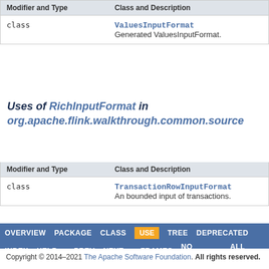| Modifier and Type | Class and Description |
| --- | --- |
| class | ValuesInputFormat
Generated ValuesInputFormat. |
Uses of RichInputFormat in org.apache.flink.walkthrough.common.source
| Modifier and Type | Class and Description |
| --- | --- |
| class | TransactionRowInputFormat
An bounded input of transactions. |
OVERVIEW  PACKAGE  CLASS  USE  TREE  DEPRECATED  INDEX  HELP  PREV  NEXT  FRAMES  NO FRAMES  ALL CLASSES
Copyright © 2014-2021 The Apache Software Foundation. All rights reserved.